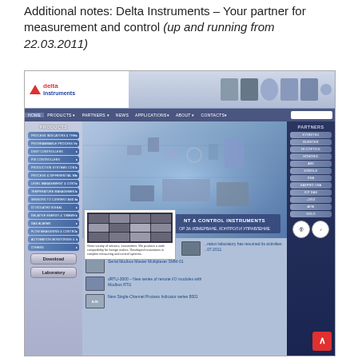Additional notes: Delta Instruments – Your partner for measurement and control (up and running from 22.03.2011)
[Figure (screenshot): Screenshot of the Delta Instruments website showing the homepage with logo, navigation bar (HOME, PRODUCTS, PARTNERS, NEWS, APPLICATIONS, ABOUT, CONTACTS), left sidebar with product categories, center hero banner with measurement and control instruments, a popup overlay showing product categories, news items including 'Serial Modbus Master Multiplexer SMM-01' and 'dRTU-3000 - New series of remote I/O modules with Modbus RTU' and 'New Single-Channel Process Indicator series 8001', right sidebar with partner names (KYORITSU, BURSTER, IR COPTICS, HONONIC, AWI, KOBOLD, DSA, KASPRO USA, ICP DAS, +DOZ, ATNI, SOLO), and certification badges at the bottom right.]